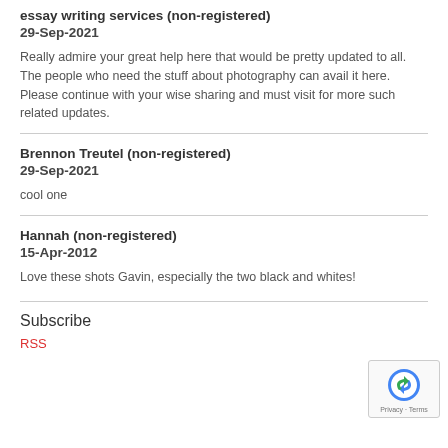essay writing services (non-registered)
29-Sep-2021
Really admire your great help here that would be pretty updated to all. The people who need the stuff about photography can avail it here. Please continue with your wise sharing and must visit for more such related updates.
Brennon Treutel (non-registered)
29-Sep-2021
cool one
Hannah (non-registered)
15-Apr-2012
Love these shots Gavin, especially the two black and whites!
Subscribe
RSS